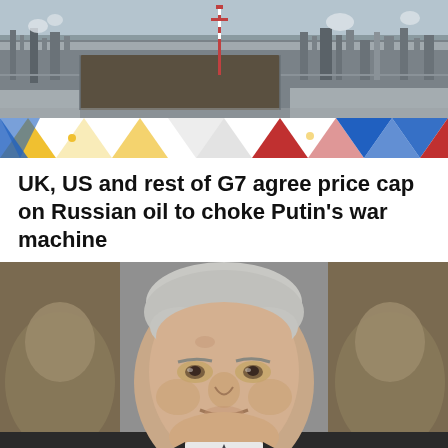[Figure (photo): Aerial view of a Russian oil facility in winter, with industrial infrastructure, tanks, and towers visible. Snow covers the surrounding landscape. Below the photo is a decorative banner of colorful triangles in blue, yellow, red, and white — suggesting Ukrainian and Russian flag colors.]
UK, US and rest of G7 agree price cap on Russian oil to choke Putin's war machine
[Figure (photo): Close-up portrait photo of an elderly man with white/grey hair, slight smile, wearing a dark suit. Background shows what appear to be decorative lion figures in brown/gold tones. The man appears to be Mikhail Gorbachev.]